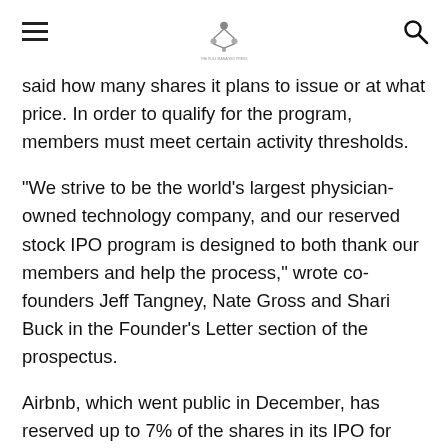[hamburger menu] [logo] [search icon]
said how many shares it plans to issue or at what price. In order to qualify for the program, members must meet certain activity thresholds.
“We strive to be the world’s largest physician-owned technology company, and our reserved stock IPO program is designed to both thank our members and help the process,” wrote co-founders Jeff Tangney, Nate Gross and Shari Buck in the Founder’s Letter section of the prospectus.
Airbnb, which went public in December, has reserved up to 7% of the shares in its IPO for hosts on the platform. After the stock fell 112% on its debut, hosts who bought the maximum number of shares posted a paper profit of over $ 15,000 on day one.